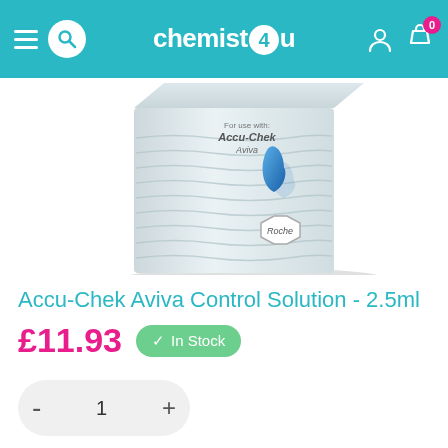chemist4u
[Figure (photo): Product photo of Accu-Chek Aviva Control Solution box — white box with wave pattern, blue water drop icon, text 'For use with Accu-Chek Aviva', and Roche logo in hexagonal badge.]
Accu-Chek Aviva Control Solution - 2.5ml
£11.93
In Stock
- 1 +